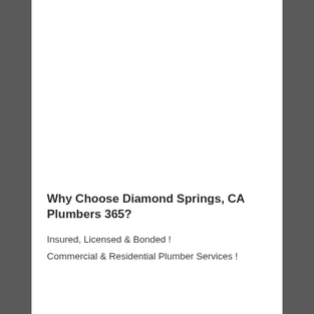Why Choose Diamond Springs, CA Plumbers 365?
Insured, Licensed & Bonded !
Commercial & Residential Plumber Services !